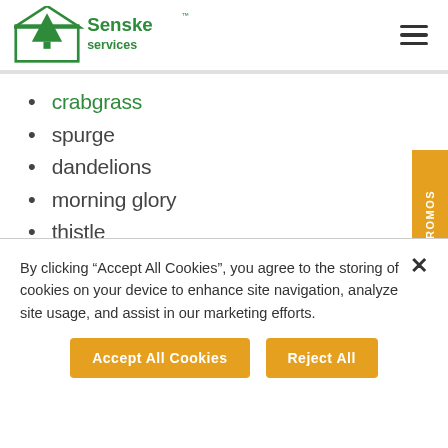[Figure (logo): Senske Services logo — green tree and house outline with 'Senske services' text]
crabgrass
spurge
dandelions
morning glory
thistle
bentgrass
white clover
henbit
By clicking “Accept All Cookies”, you agree to the storing of cookies on your device to enhance site navigation, analyze site usage, and assist in our marketing efforts.